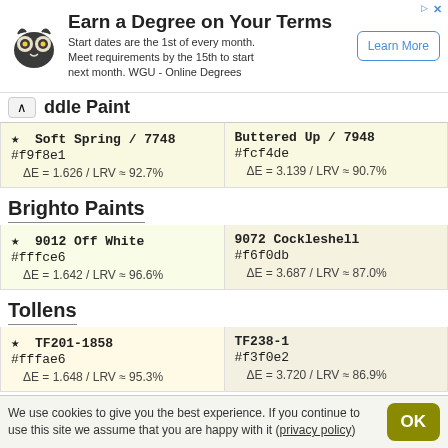[Figure (other): WGU advertisement banner with owl logo, headline 'Earn a Degree on Your Terms', body text about start dates and WGU Online Degrees, and 'Learn More' button]
ddle Paint
★  Soft Spring / 7748
#f9f8e1
ΔE = 1.626 / LRV ≈ 92.7%
Buttered Up / 7948
#fcf4de
ΔE = 3.139 / LRV ≈ 90.7%
Brighto Paints
★  9012 Off White
#fffce6
ΔE = 1.642 / LRV ≈ 96.6%
9072 Cockleshell
#f6f0db
ΔE = 3.687 / LRV ≈ 87.0%
Tollens
★  TF201-1858
#fffae6
ΔE = 1.648 / LRV ≈ 95.3%
TF238-1
#f3f0e2
ΔE = 3.720 / LRV ≈ 86.9%
We use cookies to give you the best experience. If you continue to use this site we assume that you are happy with it (privacy policy)